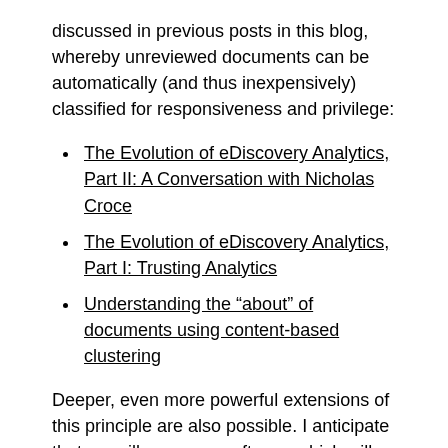discussed in previous posts in this blog, whereby unreviewed documents can be automatically (and thus inexpensively) classified for responsiveness and privilege:
The Evolution of eDiscovery Analytics, Part II: A Conversation with Nicholas Croce
The Evolution of eDiscovery Analytics, Part I: Trusting Analytics
Understanding the “about” of documents using content-based clustering
Deeper, even more powerful extensions of this principle are also possible. I anticipate that we will soon see software which will automatically classify all of an organization's documents as they are created or received, including documents residing on employees laptop and mobile devices. Using Panda-like